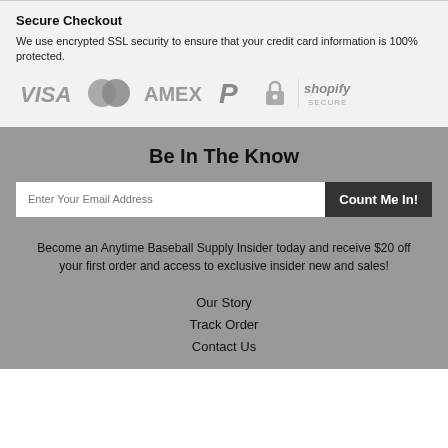Secure Checkout
We use encrypted SSL security to ensure that your credit card information is 100% protected.
[Figure (logo): Payment method logos: VISA, Mastercard, AMEX, PayPal, Shopify Secure]
Be In The Know
Become an Anytime Baseball Supply Insider today and receive $20 off your first order and access to exclusive insider new and sales!
Our Story
Track Order
Contact Us